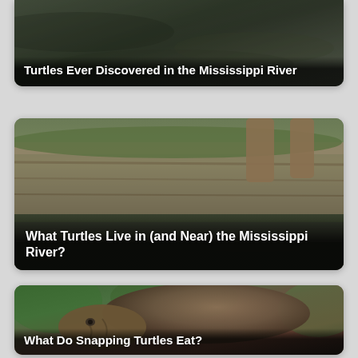[Figure (photo): Partially visible card showing dark river water scene with text overlay 'Turtles Ever Discovered in the Mississippi River']
[Figure (photo): Photo of cypress tree stumps along a muddy riverbank with green vegetation. Card titled 'What Turtles Live in (and Near) the Mississippi River?']
[Figure (photo): Photo of a large snapping turtle on a dark surface with green bokeh background. Card titled 'What Do Snapping Turtles Eat?']
[Figure (photo): Partially visible card at bottom with light pinkish-white blurred background]